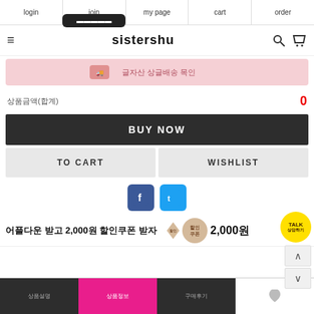login | join | my page | cart | order
sistershu
[Figure (infographic): Pink banner with Korean text about fast delivery/shipping promotion]
상품금액(합계) 0
BUY NOW
TO CART | WISHLIST
[Figure (illustration): Facebook and Twitter social share icons]
어플다운 받고 2,000원 할인쿠폰 받자 할인쿠폰 2,000원
상품설명 | 상품정보 | 구매후기 | (wishlist heart)